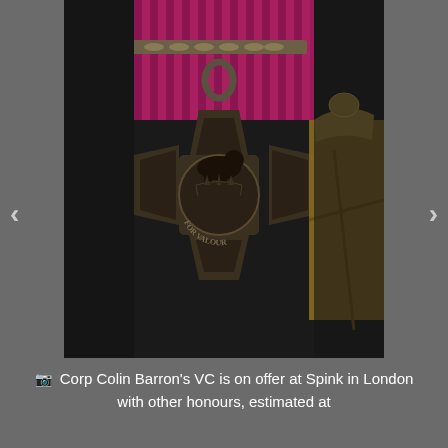[Figure (photo): Close-up photograph of a Victoria Cross medal (FOR VALOUR) in bronze/dark metal, with a lion standing on a crown above the inscription, suspended from a crimson/magenta ribbon with a decorative bar clasp. A second gold medal is partially visible to the right. Dark background.]
Corp Colin Barron's VC is on offer at Spink in London with other honours, estimated at